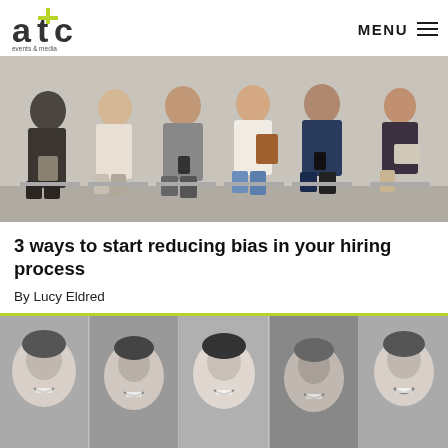atc events & media | MENU
[Figure (photo): Group of diverse job candidates sitting in a row on white chairs, holding documents and phones, waiting for interviews. Business casual and formal attire.]
3 ways to start reducing bias in your hiring process
By Lucy Eldred
[Figure (photo): Close-up black and white collage of five diverse smiling women's faces side by side, cropped at forehead level.]